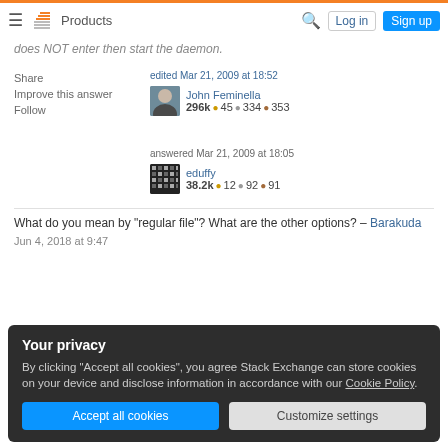Stack Overflow navbar with Products, Log in, Sign up
does NOT enter then start the daemon.
Share
Improve this answer
Follow
edited Mar 21, 2009 at 18:52
John Feminella
296k • 45 • 334 • 353
answered Mar 21, 2009 at 18:05
eduffy
38.2k • 12 • 92 • 91
What do you mean by "regular file"? What are the other options? – Barakuda Jun 4, 2018 at 9:47
Your privacy
By clicking "Accept all cookies", you agree Stack Exchange can store cookies on your device and disclose information in accordance with our Cookie Policy.
Accept all cookies
Customize settings